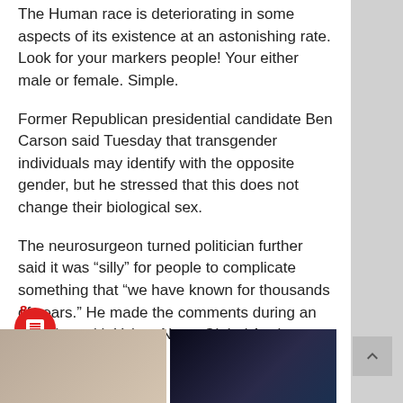The Human race is deteriorating in some aspects of its existence at an astonishing rate. Look for your markers people! Your either male or female. Simple.
Former Republican presidential candidate Ben Carson said Tuesday that transgender individuals may identify with the opposite gender, but he stressed that this does not change their biological sex.
The neurosurgeon turned politician further said it was “silly” for people to complicate something that “we have known for thousands of years.” He made the comments during an interview with Yahoo News Global Anchor Katie Couric!
Sponsored by Revcontent
[Figure (photo): Two thumbnail images at the bottom of the article page]
8